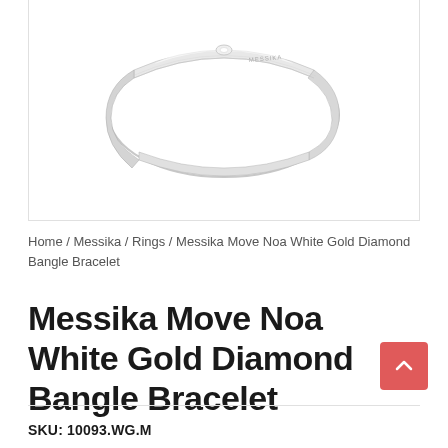[Figure (photo): Messika Move Noa white gold diamond bangle bracelet product photo on white background, showing a slim polished white gold bangle with a small diamond detail and MESSIKA engraving]
Home / Messika / Rings / Messika Move Noa White Gold Diamond Bangle Bracelet
Messika Move Noa White Gold Diamond Bangle Bracelet
SKU: 10093.WG.M